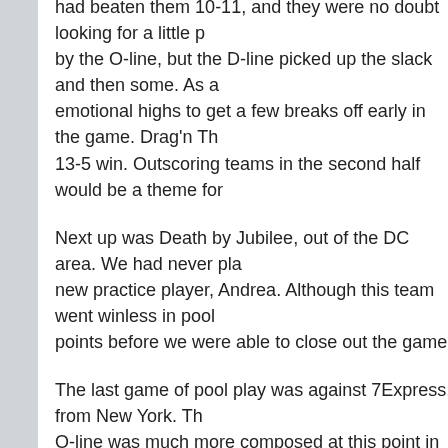had beaten them 10-11, and they were no doubt looking for a little p by the O-line, but the D-line picked up the slack and then some. As a emotional highs to get a few breaks off early in the game. Drag'n Th 13-5 win. Outscoring teams in the second half would be a theme for
Next up was Death by Jubilee, out of the DC area. We had never pla new practice player, Andrea. Although this team went winless in pool points before we were able to close out the game.
The last game of pool play was against 7Express, from New York. Th O-line was much more composed at this point in the day, adding to t
take on at an easy rate pills no rx – http://site.jumblebee.co.uk/?p=42 had a final round crossover against the second place finisher out of t different crafty defenses that gave both the O and D lines fits when w tried on offense, so we really just had to grit our teeth and will oursel finished the game out in overtime at 14-12.
Our crossover victory earned us a first round bye. We got to sleep in over Wild Card at 11-10, and looked to be pumped up and ready to g way. We seemed to have their number the entire game, with Jay and endzone. The game was over before we knew it, at 13-4.
Our semifinals matchup was against Ambiguously Grey. Although thi